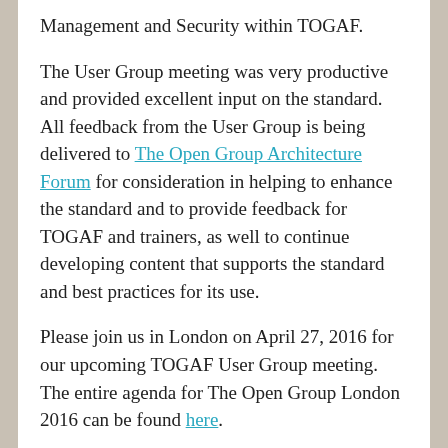Management and Security within TOGAF.
The User Group meeting was very productive and provided excellent input on the standard. All feedback from the User Group is being delivered to The Open Group Architecture Forum for consideration in helping to enhance the standard and to provide feedback for TOGAF and trainers, as well to continue developing content that supports the standard and best practices for its use.
Please join us in London on April 27, 2016 for our upcoming TOGAF User Group meeting. The entire agenda for The Open Group London 2016 can be found here.